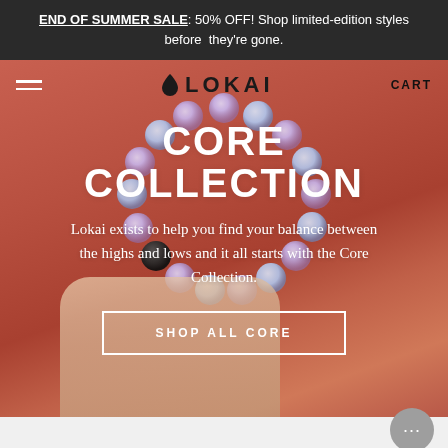END OF SUMMER SALE: 50% OFF! Shop limited-edition styles before they're gone.
[Figure (screenshot): Lokai website hero section. Navigation bar with hamburger menu, Lokai logo with droplet icon, and CART text. Large hero image showing a hand holding a translucent beaded bracelet (Core Collection) against a warm orange/red rock background. Text overlay: CORE COLLECTION heading, descriptive paragraph, and SHOP ALL CORE button.]
CORE COLLECTION
Lokai exists to help you find your balance between the highs and lows and it all starts with the Core Collection.